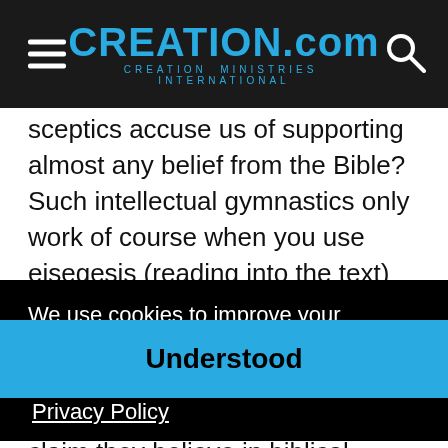CREATION.com — CREATION MINISTRIES INTERNATIONAL
sceptics accuse us of supporting almost any belief from the Bible? Such intellectual gymnastics only work of course when you use eisegesis (reading into the text) and not exegesis (reading out of the text). The authors employ the former. Despite all their eisegesis, the authors even have the gall to claim they believe in biblical inerrancy (p. 181). We only need to look at the state of the Church since the 1700s to understand that [partially obscured] ideas
We use cookies to improve your experience on creation.com and related sites.
Privacy Policy
Understood
s review, which he started but handed off to me. I also